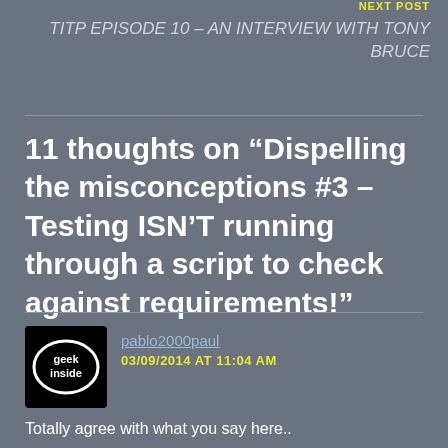NEXT POST
TITP EPISODE 10 – AN INTERVIEW WITH TONY BRUCE
11 thoughts on “Dispelling the misconceptions #3 – Testing ISN’T running through a script to check against requirements!”
[Figure (logo): Geek Inside logo: black square with oval outline containing text 'geek inside' in white lowercase]
pablo2000paul
03/09/2014 AT 11:04 AM
Totally agree with what you say here..